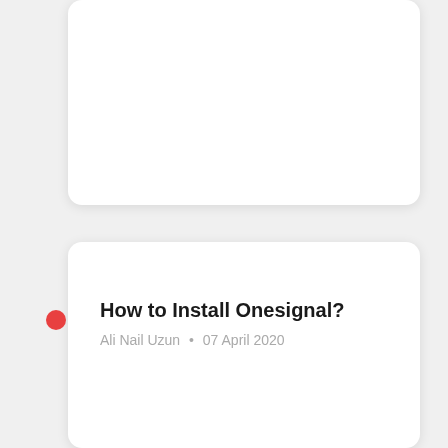[Figure (screenshot): Top card - empty white card with rounded corners]
How to Install Onesignal?
Ali Nail Uzun  •  07 April 2020